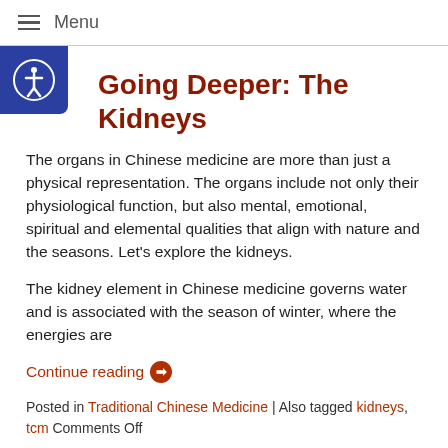≡ Menu
Going Deeper: The Kidneys
The organs in Chinese medicine are more than just a physical representation. The organs include not only their physiological function, but also mental, emotional, spiritual and elemental qualities that align with nature and the seasons. Let's explore the kidneys.
The kidney element in Chinese medicine governs water and is associated with the season of winter, where the energies are
Continue reading ➡
Posted in Traditional Chinese Medicine | Also tagged kidneys, tcm Comments Off